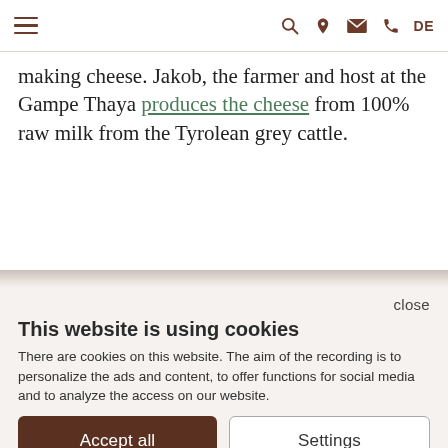≡  🔍 📍 ✉ 📞 DE
making cheese. Jakob, the farmer and host at the Gampe Thaya produces the cheese from 100% raw milk from the Tyrolean grey cattle.
close
This website is using cookies
There are cookies on this website. The aim of the recording is to personalize the ads and content, to offer functions for social media and to analyze the access on our website.
Accept all  |  Settings
Tool made by ★ncm.at